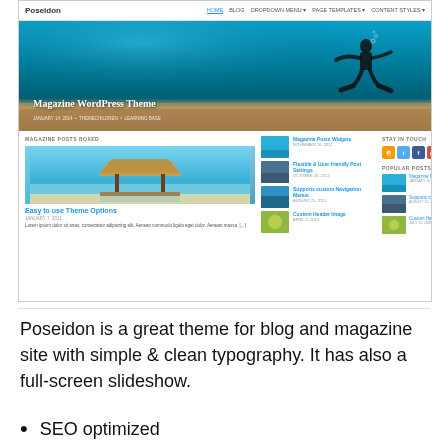[Figure (screenshot): Screenshot of the Poseidon WordPress magazine theme showing a navigation bar with logo and menu links, a hero banner featuring a scuba diver silhouette underwater with text 'Magazine WordPress Theme', and a content area with magazine-style post layout including featured image of a beach hut, small post thumbnails, social icons (RSS, Twitter, Facebook, Google+, YouTube), and popular posts sidebar.]
Poseidon is a great theme for blog and magazine site with simple & clean typography. It has also a full-screen slideshow.
SEO optimized